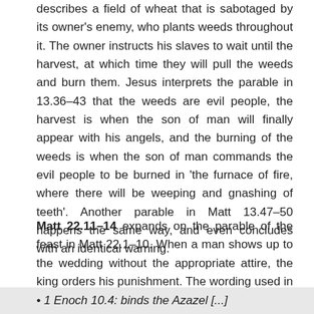describes a field of wheat that is sabotaged by its owner's enemy, who plants weeds throughout it. The owner instructs his slaves to wait until the harvest, at which time they will pull the weeds and burn them. Jesus interprets the parable in 13.36–43 that the weeds are evil people, the harvest is when the son of man will finally appear with his angels, and the burning of the weeds is when the son of man commands the evil people to be burned in 'the furnace of fire, where there will be weeping and gnashing of teeth'. Another parable in Matt 13.47–50 happens the same way, and even concludes with an identical warning.
Matt 22.11–14 expands on the parable of the feast in Matt 22.1–10. When a man shows up to the wedding without the appropriate attire, the king orders his punishment. The wording used in Matthew is nearly identical to Greek fragments of 1 Enoch from Codex Gizeh.
• 1 Enoch 10.4: binds the Azazel [...]